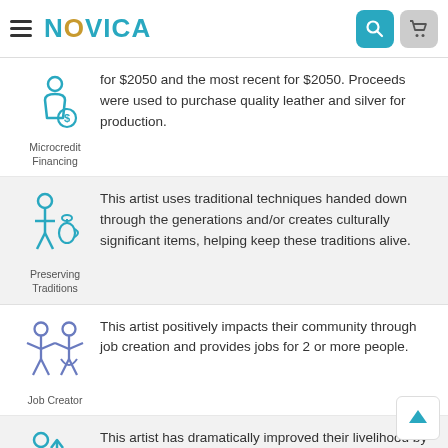NOVICA
for $2050 and the most recent for $2050. Proceeds were used to purchase quality leather and silver for production.
[Figure (illustration): Teal icon of a person with a money bag labeled Microcredit Financing]
This artist uses traditional techniques handed down through the generations and/or creates culturally significant items, helping keep these traditions alive.
[Figure (illustration): Teal icon of two figures representing Preserving Traditions]
This artist positively impacts their community through job creation and provides jobs for 2 or more people.
[Figure (illustration): Blue/purple icon of two people with arms up representing Job Creator]
This artist has dramatically improved their livelihood by working with NOVICA.
[Figure (illustration): Teal icon of a person with upward arrow and bar chart]